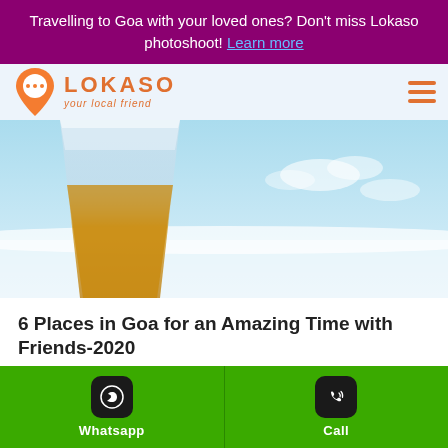Travelling to Goa with your loved ones? Don't miss Lokaso photoshoot! Learn more
[Figure (logo): Lokaso logo with orange location pin icon and text 'LOKASO your local friend']
[Figure (photo): Close-up photo of a cold beer glass at the beach with blue sky and ocean in the background]
6 Places in Goa for an Amazing Time with Friends-2020
Lokaso   May 7, 2020
Whatsapp   Call